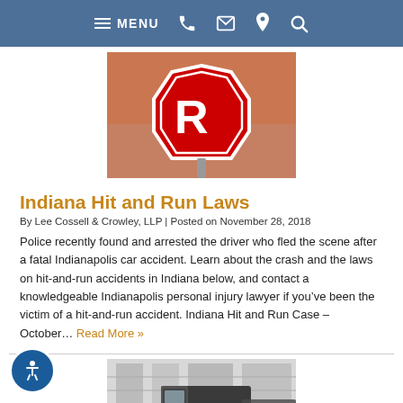MENU [hamburger] [phone] [email] [location] [search]
[Figure (photo): Partial view of a red stop sign close-up]
Indiana Hit and Run Laws
By Lee Cossell & Crowley, LLP | Posted on November 28, 2018
Police recently found and arrested the driver who fled the scene after a fatal Indianapolis car accident. Learn about the crash and the laws on hit-and-run accidents in Indiana below, and contact a knowledgeable Indianapolis personal injury lawyer if you’ve been the victim of a hit-and-run accident. Indiana Hit and Run Case – October... Read More »
[Figure (photo): Truck on a road near buildings, partial view]